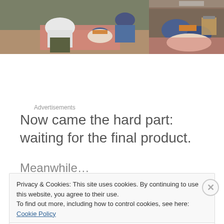[Figure (photo): Two medical/veterinary procedure photos side by side: left shows a person in white shirt working on an animal/patient with pink towels, right shows a close-up of gloved hands working]
Advertisements
Now came the hard part: waiting for the final product.
Meanwhile…
Privacy & Cookies: This site uses cookies. By continuing to use this website, you agree to their use.
To find out more, including how to control cookies, see here: Cookie Policy
Close and accept